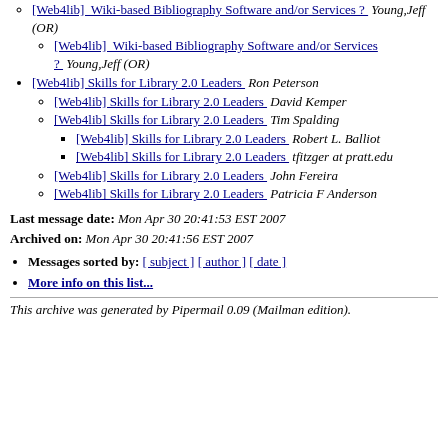[Web4lib]  Wiki-based Bibliography Software and/or Services ?  Young,Jeff (OR)
[Web4lib]  Wiki-based Bibliography Software and/or Services ?  Young,Jeff (OR)
[Web4lib] Skills for Library 2.0 Leaders  Ron Peterson
[Web4lib] Skills for Library 2.0 Leaders  David Kemper
[Web4lib] Skills for Library 2.0 Leaders  Tim Spalding
[Web4lib] Skills for Library 2.0 Leaders  Robert L. Balliot
[Web4lib] Skills for Library 2.0 Leaders  tfitzger at pratt.edu
[Web4lib] Skills for Library 2.0 Leaders  John Fereira
[Web4lib] Skills for Library 2.0 Leaders  Patricia F Anderson
Last message date: Mon Apr 30 20:41:53 EST 2007
Archived on: Mon Apr 30 20:41:56 EST 2007
Messages sorted by: [ subject ] [ author ] [ date ]
More info on this list...
This archive was generated by Pipermail 0.09 (Mailman edition).